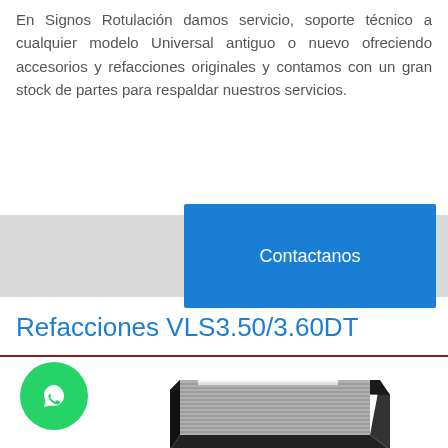En Signos Rotulación damos servicio, soporte técnico a cualquier modelo Universal antiguo o nuevo ofreciendo accesorios y refacciones originales y contamos con un gran stock de partes para respaldar nuestros servicios.
[Figure (other): Gray bar with a blue 'Contactanos' button on the right side]
Refacciones VLS3.50/3.60DT
[Figure (photo): A black-framed rectangular tray/grid part (laser engraver component) shown in 3D perspective, with parallel slats inside. A green WhatsApp button icon is overlaid in the bottom-left area.]